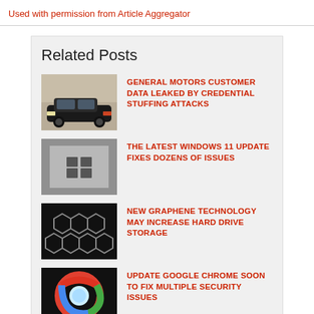Used with permission from Article Aggregator
Related Posts
GENERAL MOTORS CUSTOMER DATA LEAKED BY CREDENTIAL STUFFING ATTACKS
THE LATEST WINDOWS 11 UPDATE FIXES DOZENS OF ISSUES
NEW GRAPHENE TECHNOLOGY MAY INCREASE HARD DRIVE STORAGE
UPDATE GOOGLE CHROME SOON TO FIX MULTIPLE SECURITY ISSUES
QUEST DIAGNOSTICS SUFFERS...